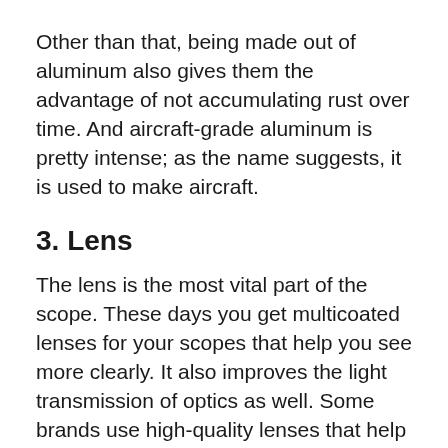Other than that, being made out of aluminum also gives them the advantage of not accumulating rust over time. And aircraft-grade aluminum is pretty intense; as the name suggests, it is used to make aircraft.
3. Lens
The lens is the most vital part of the scope. These days you get multicoated lenses for your scopes that help you see more clearly. It also improves the light transmission of optics as well. Some brands use high-quality lenses that help you see better even at dusk. And they also prevent glaring and reflections that could impede your shooting activities during